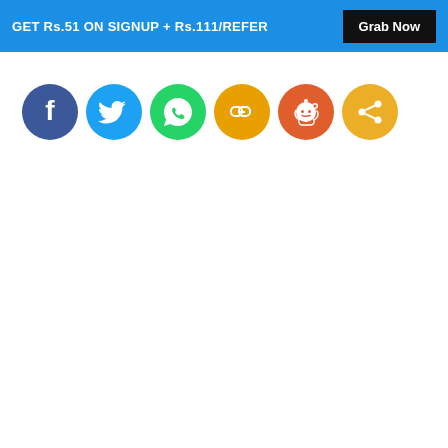GET Rs.51 ON SIGNUP + Rs.111/REFER  Grab Now
[Figure (infographic): Six social media share buttons in a row: Facebook (blue), Twitter (light blue), WhatsApp (green), Copy Link (yellow/orange), Reddit (orange-red), Share (orange). All circular icon buttons.]